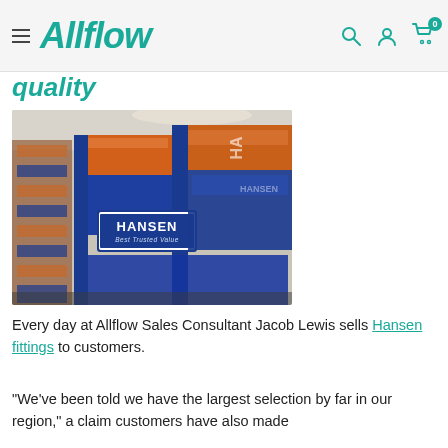Allflow — navigation header with hamburger menu, logo, search, account, and cart icons
quality
[Figure (photo): Warehouse shelving stocked with blue and orange Hansen brand fittings packaging. The prominent label reads 'HANSEN Best Trusted Value' on the front of a blue metal racking unit.]
Every day at Allflow Sales Consultant Jacob Lewis sells Hansen fittings to customers.
"We've been told we have the largest selection by far in our region," a claim customers have also made